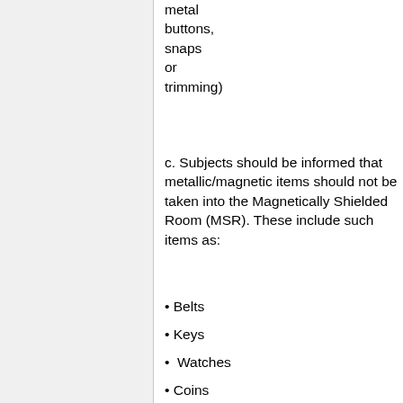metal buttons, snaps or trimming)
c. Subjects should be informed that metallic/magnetic items should not be taken into the Magnetically Shielded Room (MSR). These include such items as:
• Belts
• Keys
• Watches
• Coins
• Eyeglasses